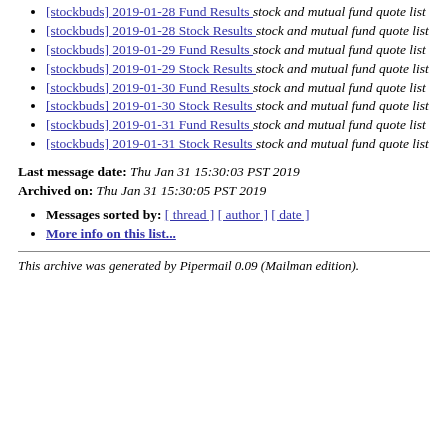[stockbuds] 2019-01-28 Fund Results  stock and mutual fund quote list
[stockbuds] 2019-01-28 Stock Results  stock and mutual fund quote list
[stockbuds] 2019-01-29 Fund Results  stock and mutual fund quote list
[stockbuds] 2019-01-29 Stock Results  stock and mutual fund quote list
[stockbuds] 2019-01-30 Fund Results  stock and mutual fund quote list
[stockbuds] 2019-01-30 Stock Results  stock and mutual fund quote list
[stockbuds] 2019-01-31 Fund Results  stock and mutual fund quote list
[stockbuds] 2019-01-31 Stock Results  stock and mutual fund quote list
Last message date: Thu Jan 31 15:30:03 PST 2019
Archived on: Thu Jan 31 15:30:05 PST 2019
Messages sorted by: [ thread ] [ author ] [ date ]
More info on this list...
This archive was generated by Pipermail 0.09 (Mailman edition).